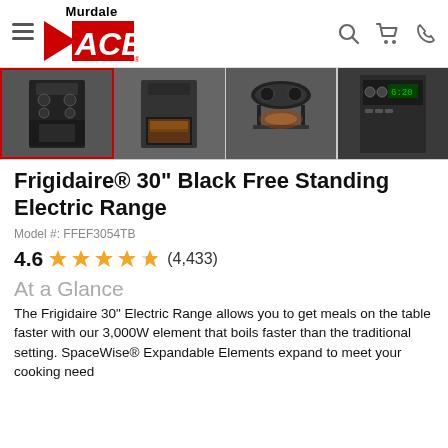Murdale ACE
[Figure (photo): Product image gallery showing 4 photos of the Frigidaire 30" Black Free Standing Electric Range from different angles]
Frigidaire® 30" Black Free Standing Electric Range
Model #: FFEF3054TB
4.6 ★★★★½ (4,433)
At a Glance
The Frigidaire 30" Electric Range allows you to get meals on the table faster with our 3,000W element that boils faster than the traditional setting. SpaceWise® Expandable Elements expand to meet your cooking needs...